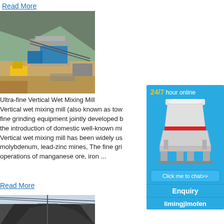Read More
[Figure (photo): Outdoor mining/quarrying site with blue machinery, excavators, and industrial equipment at the base of a rocky hill]
Ultra-fine Vertical Wet Mixing Mill
Vertical wet mixing mill (also known as tow... fine grinding equipment jointly developed b... h the introduction of domestic well-known mi... Vertical wet mixing mill has been widely use... molybdenum, lead-zinc mines, The fine gri... g operations of manganese ore, iron ...
Read More
[Figure (photo): Dark stockpile of material (coal or mineral ore) with cables/wires overhead]
[Figure (infographic): Sidebar advertisement: 24/7 hour online, image of a cone crusher machine, Click me to chat>> button, Enquiry section, limingjlmofen text]
24/7 hour online
Click me to chat>>
Enquiry
limingjlmofen